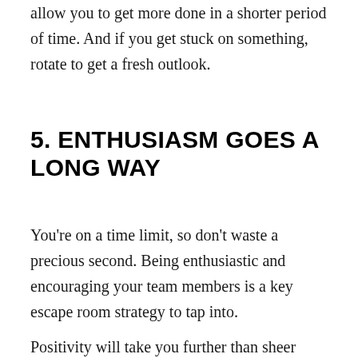allow you to get more done in a shorter period of time. And if you get stuck on something, rotate to get a fresh outlook.
5. ENTHUSIASM GOES A LONG WAY
You're on a time limit, so don't waste a precious second. Being enthusiastic and encouraging your team members is a key escape room strategy to tap into.
Positivity will take you further than sheer brain power.